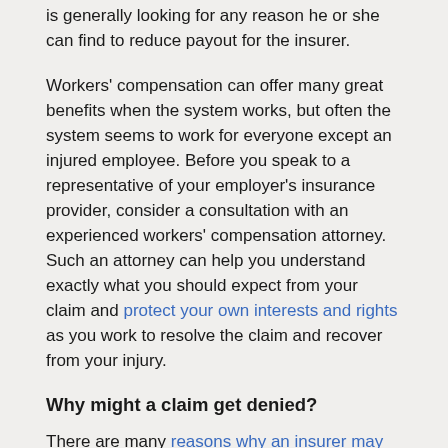is generally looking for any reason he or she can find to reduce payout for the insurer.
Workers' compensation can offer many great benefits when the system works, but often the system seems to work for everyone except an injured employee. Before you speak to a representative of your employer's insurance provider, consider a consultation with an experienced workers' compensation attorney. Such an attorney can help you understand exactly what you should expect from your claim and protect your own interests and rights as you work to resolve the claim and recover from your injury.
Why might a claim get denied?
There are many reasons why an insurer may attempt to deny your claim. Sometimes, these are legitimate